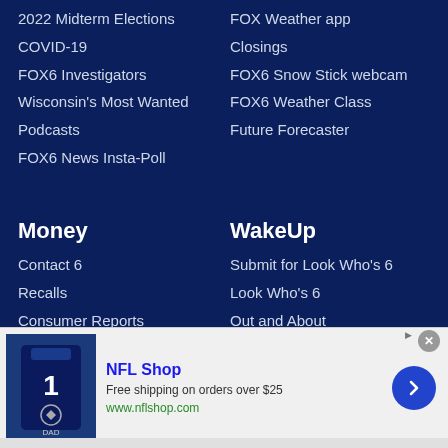2022 Midterm Elections
COVID-19
FOX6 Investigators
Wisconsin's Most Wanted
Podcasts
FOX6 News Insta-Poll
FOX Weather app
Closings
FOX6 Snow Stick webcam
FOX6 Weather Class
Future Forecaster
Money
WakeUp
Contact 6
Recalls
Consumer Reports
Personal Finance
Business
Submit for Look Who's 6
Look Who's 6
Out and About
Interviews
[Figure (screenshot): NFL Shop advertisement banner with jersey image, text 'NFL Shop Free shipping on orders over $25 www.nflshop.com' and a blue arrow button]